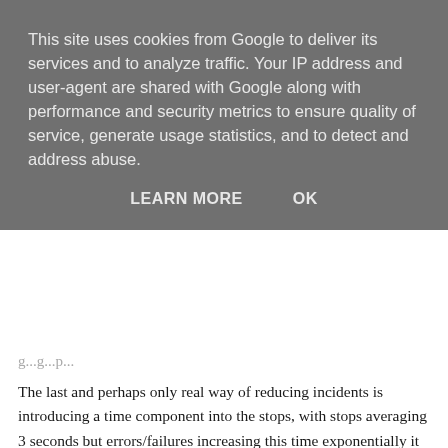This site uses cookies from Google to deliver its services and to analyze traffic. Your IP address and user-agent are shared with Google along with performance and security metrics to ensure quality of service, generate usage statistics, and to detect and address abuse.
LEARN MORE    OK
The last and perhaps only real way of reducing incidents is introducing a time component into the stops, with stops averaging 3 seconds but errors/failures increasing this time exponentially it could be argued that the pressure of generating the quickest stop ever would reduce some of the error factor.  A mandatory time stationary would enable the pit crew to complete their stop without the pressure they currently face leaving the driver to leave the pits in a more controlled manner.  The teams could continue to complete their stops as quickly as they desire but a stop/go system controlled by the FIA would signal whether they were free to leave in the mandated time.  It's difficult to quantify but with the stops we are currently seeing, even double (6 seconds)